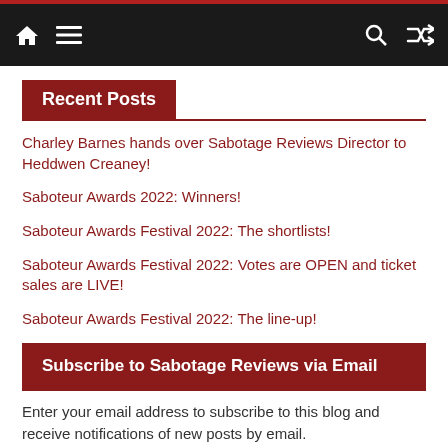Navigation bar with home, menu, search, and shuffle icons
Recent Posts
Charley Barnes hands over Sabotage Reviews Director to Heddwen Creaney!
Saboteur Awards 2022: Winners!
Saboteur Awards Festival 2022: The shortlists!
Saboteur Awards Festival 2022: Votes are OPEN and ticket sales are LIVE!
Saboteur Awards Festival 2022: The line-up!
Subscribe to Sabotage Reviews via Email
Enter your email address to subscribe to this blog and receive notifications of new posts by email.